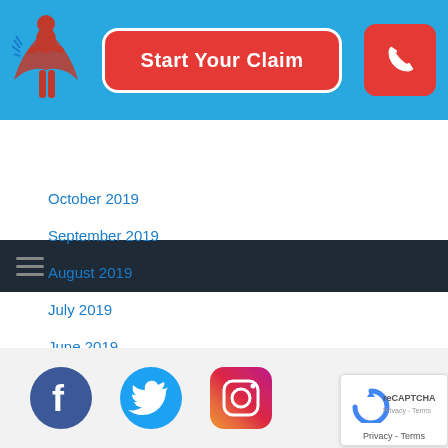[Figure (screenshot): Blue header bar with insurance superhero logo on left, red 'Start Your Claim' button in center, red phone button on right]
[Figure (screenshot): Dark navy navigation bar with hamburger menu icon]
October 2019
September 2019
August 2019
July 2019
June 2019
CATEGORIES
Guides
Facebook, Twitter, Instagram social media icons and reCAPTCHA badge